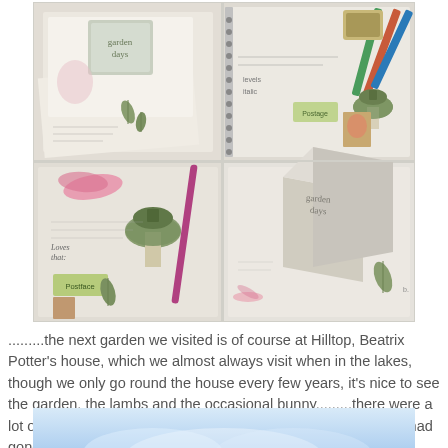[Figure (photo): A 2x2 grid of photos showing craft journal/scrapbook pages with botanical illustrations including mushrooms, leaves, a small box labeled 'garden days', stamps, handwritten text, and pencils. The items appear to be handmade paper craft items with watercolor botanical motifs.]
.........the next garden we visited is of course at Hilltop, Beatrix Potter's house, which we almost always visit when in the lakes, though we only go round the house every few years, it's nice to see the garden, the lambs and the occasional bunny.........there were a lot of visitors this time queuing up the path, so i waited till they had gone in for the tour before snapping these photos :)
[Figure (photo): Bottom partial photo showing a blue/light sky with soft bokeh or possibly a garden scene, only the top portion visible.]